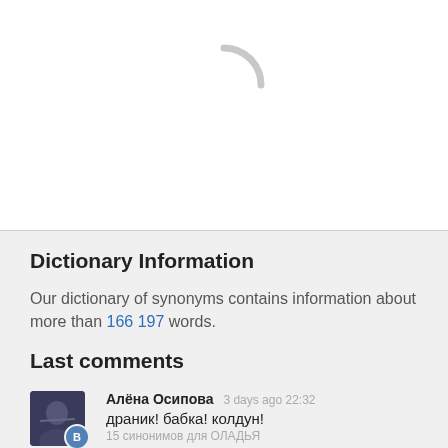[Figure (other): Loading spinner (partial arc) centered in white area]
Dictionary Information
Our dictionary of synonyms contains information about more than 166 197 words.
Last comments
Алёна Осипова  3 days ago 22:32
драник! бабка! колдун!
15 синонимов для ОЛАДЬЯ
Игорь Николаевич  29 days ago 10:46
Нет у вас этого слова. Синоним оладьев с